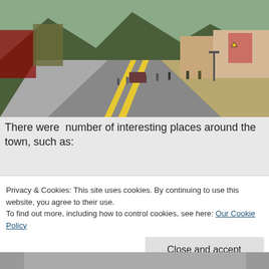[Figure (photo): Street-level view of a downtown area with a road featuring yellow center lines, commercial buildings on both sides, people walking on sidewalks, a mountain in the background, and a yield sign visible on the right side.]
There were  number of interesting places around the town, such as:
Privacy & Cookies: This site uses cookies. By continuing to use this website, you agree to their use.
To find out more, including how to control cookies, see here: Our Cookie Policy
[Figure (photo): Partial view of another photo at the bottom of the page, mostly obscured.]